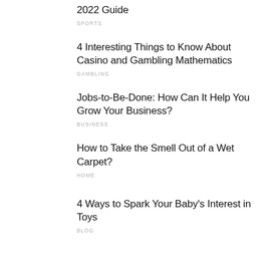2022 Guide
SPORTS
4 Interesting Things to Know About Casino and Gambling Mathematics
GAMBLING
Jobs-to-Be-Done: How Can It Help You Grow Your Business?
BUSINESS
How to Take the Smell Out of a Wet Carpet?
HOME
4 Ways to Spark Your Baby's Interest in Toys
BLOG